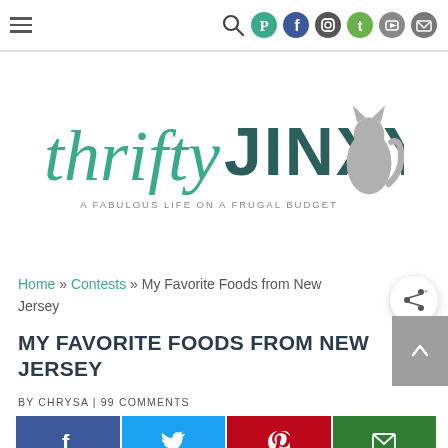Navigation bar with hamburger menu and social icons (search, Pinterest, Facebook, Instagram, Twitter, YouTube, Email)
[Figure (logo): thriftyJINXY logo with cursive 'thrifty' in teal and bold 'JINXY' in dark teal, with a cat silhouette. Tagline: A FABULOUS LIFE ON A FRUGAL BUDGET]
Home » Contests » My Favorite Foods from New Jersey
MY FAVORITE FOODS FROM NEW JERSEY
BY CHRYSA | 99 COMMENTS
[Figure (infographic): Social share buttons: Facebook (blue), Twitter (cyan), Pinterest (red), Email (green)]